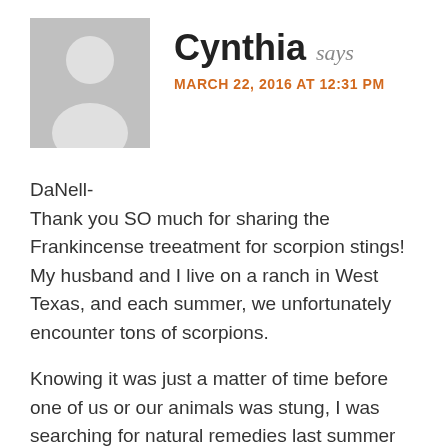[Figure (illustration): Gray avatar/silhouette placeholder image of a generic person (head and shoulders)]
Cynthia says
MARCH 22, 2016 AT 12:31 PM
DaNell-
Thank you SO much for sharing the Frankincense treeatment for scorpion stings! My husband and I live on a ranch in West Texas, and each summer, we unfortunately encounter tons of scorpions.
Knowing it was just a matter of time before one of us or our animals was stung, I was searching for natural remedies last summer and came across your blog. I have tons of essential oils, but was out of Frankincense,